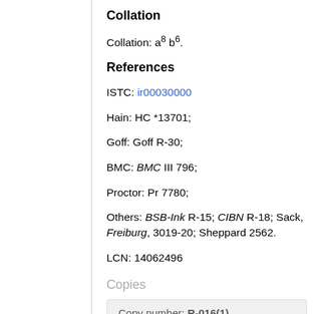Collation
Collation: a⁸ b⁶.
References
ISTC: ir00030000
Hain: HC *13701;
Goff: Goff R-30;
BMC: BMC III 796;
Proctor: Pr 7780;
Others: BSB-Ink R-15; CIBN R-18; Sack, Freiburg, 3019-20; Sheppard 2562.
LCN: 14062496
Copies
Copy number: R-016(1)